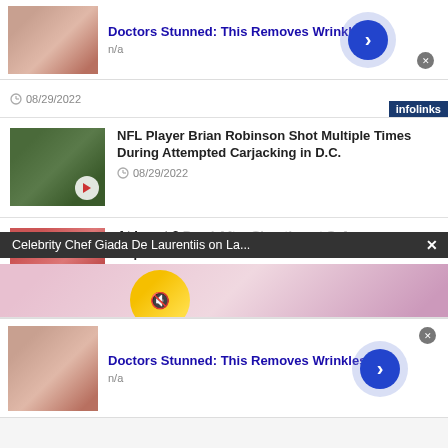[Figure (screenshot): Ad: Doctors Stunned This Removes Wrinkles — thumbnail of face closeup with pearl, arrow button, n/a label, infolinks badge]
08/29/2022
[Figure (screenshot): NFL Player Brian Robinson Shot Multiple Times During Attempted Carjacking in D.C. — thumbnail of news image with play icon, date 08/29/2022]
[Figure (screenshot): At Least 3 Dead After Shooting at Safeway Supermarket — thumbnail with play icon, infolinks badge, date 08/29/2022, overlaid by notification bar 'Celebrity Chef Giada De Laurentiis on La...' with close button and overlay image strip]
[Figure (screenshot): Ad: Doctors Stunned This Removes Wrinkles — second instance, thumbnail of face closeup, arrow button, n/a label, close button]